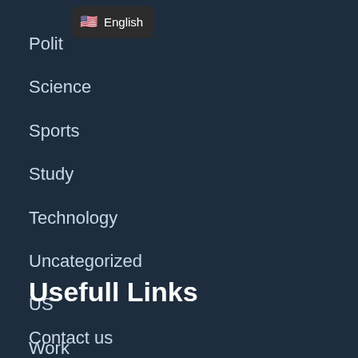[Figure (screenshot): Dropdown tooltip showing a US flag emoji and the text 'English' on a dark rounded rectangle]
Polit…
Science
Sports
Study
Technology
Uncategorized
US
Work
World
Usefull Links
Contact us